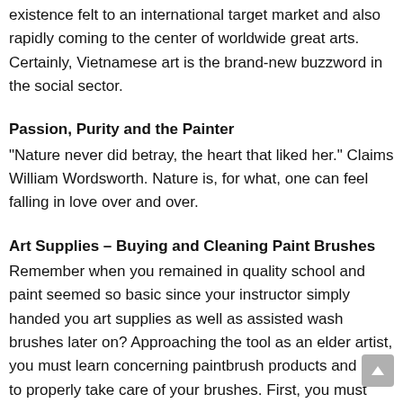existence felt to an international target market and also rapidly coming to the center of worldwide great arts. Certainly, Vietnamese art is the brand-new buzzword in the social sector.
Passion, Purity and the Painter
“Nature never did betray, the heart that liked her.” Claims William Wordsworth. Nature is, for what, one can feel falling in love over and over.
Art Supplies – Buying and Cleaning Paint Brushes
Remember when you remained in quality school and paint seemed so basic since your instructor simply handed you art supplies as well as assisted wash brushes later on? Approaching the tool as an elder artist, you must learn concerning paintbrush products and how to properly take care of your brushes. First, you must determine whether you will certainly require soft or rigid hairs for your paintbrush.